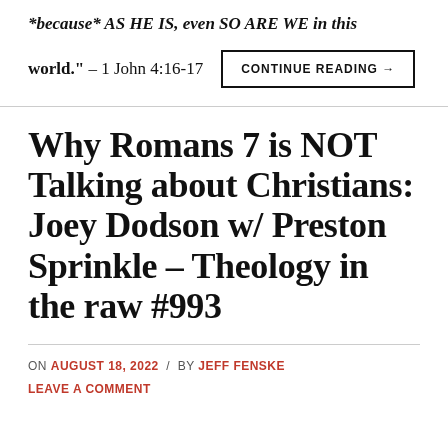*because* AS HE IS, even SO ARE WE in this world." – 1 John 4:16-17
CONTINUE READING →
Why Romans 7 is NOT Talking about Christians: Joey Dodson w/ Preston Sprinkle – Theology in the raw #993
ON AUGUST 18, 2022 / BY JEFF FENSKE
LEAVE A COMMENT